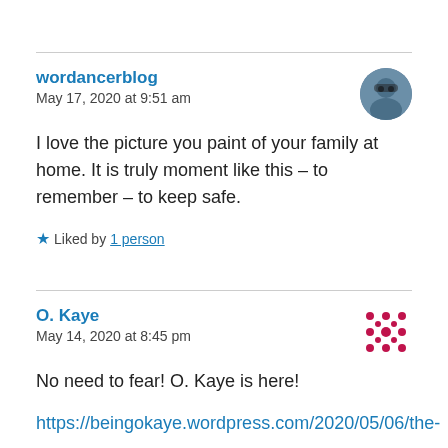wordancerblog
May 17, 2020 at 9:51 am
I love the picture you paint of your family at home. It is truly moment like this – to remember – to keep safe.
★ Liked by 1 person
O. Kaye
May 14, 2020 at 8:45 pm
No need to fear! O. Kaye is here!
https://beingokaye.wordpress.com/2020/05/06/the-